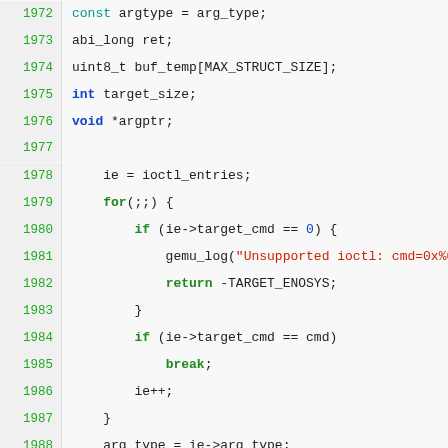Source code listing lines 1972-1997, C programming language with syntax highlighting
1972: const argtype = arg_type;
1973: abi_long ret;
1974: uint8_t buf_temp[MAX_STRUCT_SIZE];
1975: int target_size;
1976: void *argptr;
1977: (blank)
1978: ie = ioctl_entries;
1979: for(;;) {
1980: if (ie->target_cmd == 0) {
1981: gemu_log("Unsupported ioctl: cmd=0x%041x\n"
1982: return -TARGET_ENOSYS;
1983: }
1984: if (ie->target_cmd == cmd)
1985: break;
1986: ie++;
1987: }
1988: arg_type = ie->arg_type;
1989: #if defined(DEBUG)
1990: gemu_log("ioctl: cmd=0x%041x (%s)\n", (long)cmd, ie
1991: #endif
1992: switch(arg_type[0]) {
1993: case TYPE_NULL:
1994: /* no argument */
1995: ret = get_errno(ioctl(fd, ie->host_cmd));
1996: break;
1997: case TYPE_PTRVOID: